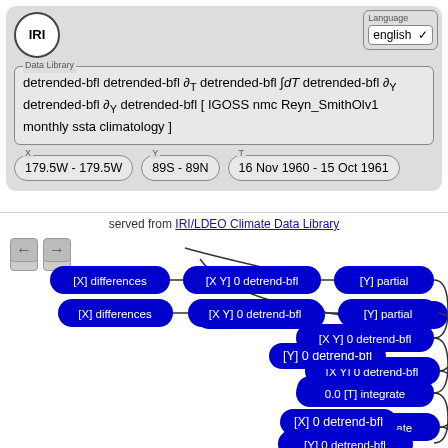[Figure (screenshot): IRI Data Library web interface showing detrended-bfl formula query with range selectors and flowchart of operations]
detrended-bfl detrended-bfl ∂T detrended-bfl ∫dT detrended-bfl ∂Y detrended-bfl ∂Y detrended-bfl [ IGOSS nmc Reyn_SmithOlv1 monthly ssta climatology ]
179.5W - 179.5W
89S - 89N
16 Nov 1960 - 15 Oct 1961
served from IRI/LDEO Climate Data Library
[X] differences
[X Y] 0 detrend-bfl
[Y] partial
[X Y] 0 detrend-bfl
0.0 [T] integrate
[Y] 0 detrend-bfl
[T] partial
[X] 0 detrend-bfl